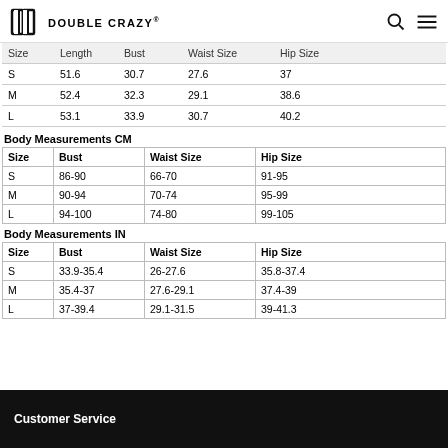DOUBLE CRAZY
| Size | Length | Bust | Waist Size | Hip Size |
| --- | --- | --- | --- | --- |
| S | 51.6 | 30.7 | 27.6 | 37 |
| M | 52.4 | 32.3 | 29.1 | 38.6 |
| L | 53.1 | 33.9 | 30.7 | 40.2 |
Body Measurements CM
| Size | Bust | Waist Size | Hip Size |
| --- | --- | --- | --- |
| S | 86-90 | 66-70 | 91-95 |
| M | 90-94 | 70-74 | 95-99 |
| L | 94-100 | 74-80 | 99-105 |
Body Measurements IN
| Size | Bust | Waist Size | Hip Size |
| --- | --- | --- | --- |
| S | 33.9-35.4 | 26-27.6 | 35.8-37.4 |
| M | 35.4-37 | 27.6-29.1 | 37.4-39 |
| L | 37-39.4 | 29.1-31.5 | 39-41.3 |
Customer Service